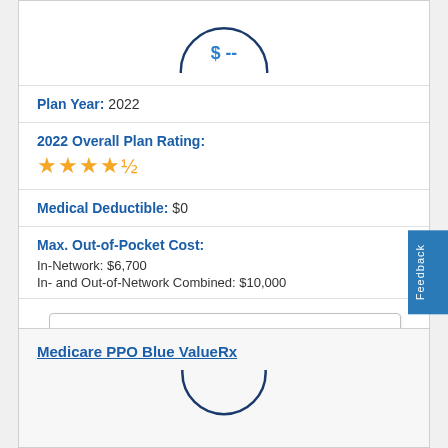[Figure (other): Partial circle with '$--' text in dark blue, cropped at top of page]
Plan Year: 2022
2022 Overall Plan Rating: ★★★★½
Medical Deductible: $0
Max. Out-of-Pocket Cost:
In-Network: $6,700
In- and Out-of-Network Combined: $10,000
View Plan Details
Medicare PPO Blue ValueRx
[Figure (other): Partial circle (bottom portion visible) in dark blue, partially cropped at bottom of page]